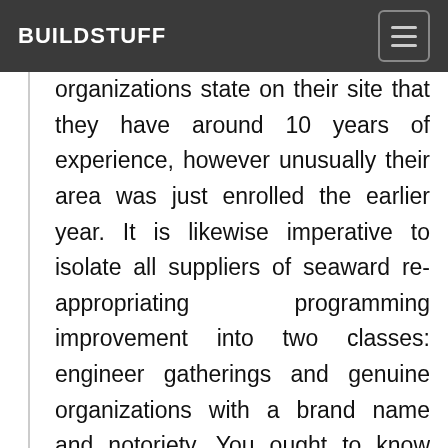BUILDSTUFF
organizations state on their site that they have around 10 years of experience, however unusually their area was just enrolled the earlier year. It is likewise imperative to isolate all suppliers of seaward re-appropriating programming improvement into two classes: engineer gatherings and genuine organizations with a brand name and notoriety. You ought to know from the beginning who you are working with. Designer bunches are unsteady and regularly not truly dependable. Their ability is hard to